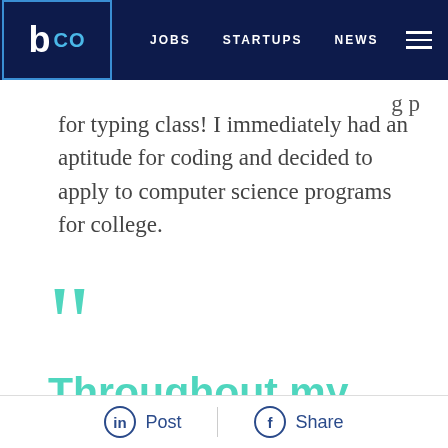b co  JOBS  STARTUPS  NEWS
for typing class! I immediately had an aptitude for coding and decided to apply to computer science programs for college.
““ Throughout my career, I’ve often found myself one of the few women
Post  Share